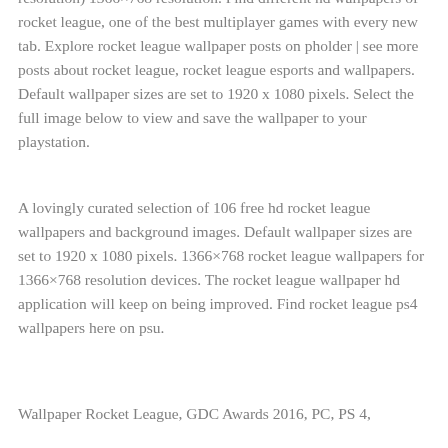resolution) 1366×768 resolution. Find different hd wallpapers of rocket league, one of the best multiplayer games with every new tab. Explore rocket league wallpaper posts on pholder | see more posts about rocket league, rocket league esports and wallpapers. Default wallpaper sizes are set to 1920 x 1080 pixels. Select the full image below to view and save the wallpaper to your playstation.
A lovingly curated selection of 106 free hd rocket league wallpapers and background images. Default wallpaper sizes are set to 1920 x 1080 pixels. 1366×768 rocket league wallpapers for 1366×768 resolution devices. The rocket league wallpaper hd application will keep on being improved. Find rocket league ps4 wallpapers here on psu.
Wallpaper Rocket League, GDC Awards 2016, PC, PS 4,